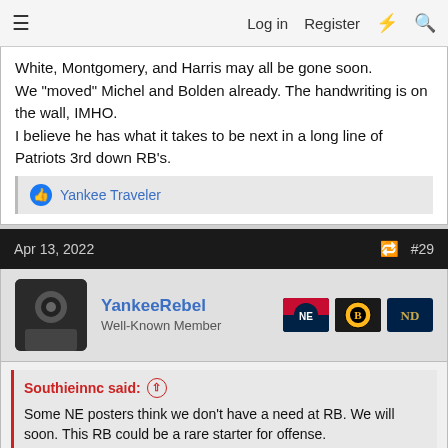Log in  Register
White, Montgomery, and Harris may all be gone soon. We "moved" Michel and Bolden already. The handwriting is on the wall, IMHO.
I believe he has what it takes to be next in a long line of Patriots 3rd down RB's.
Yankee Traveler
Apr 13, 2022  #29
YankeeRebel
Well-Known Member
Southieinnc said:
Some NE posters think we don't have a need at RB. We will soon. This RB could be a rare starter for offense.
He certainly won't have the knowledge of James White but